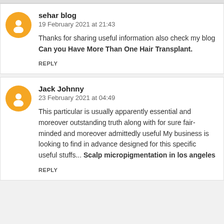sehar blog
19 February 2021 at 21:43
Thanks for sharing useful information also check my blog Can you Have More Than One Hair Transplant.
REPLY
Jack Johnny
23 February 2021 at 04:49
This particular is usually apparently essential and moreover outstanding truth along with for sure fair-minded and moreover admittedly useful My business is looking to find in advance designed for this specific useful stuffs... Scalp micropigmentation in los angeles
REPLY